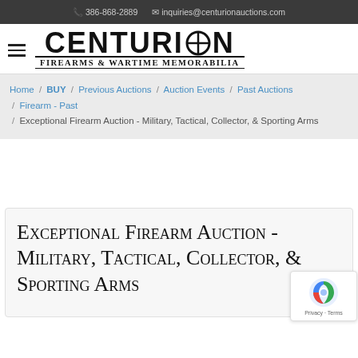386-868-2889   inquiries@centurionauctions.com
CENTURION Firearms & Wartime Memorabilia
Home / BUY / Previous Auctions / Auction Events / Past Auctions / Firearm - Past / Exceptional Firearm Auction - Military, Tactical, Collector, & Sporting Arms
Exceptional Firearm Auction - Military, Tactical, Collector, & Sporting Arms